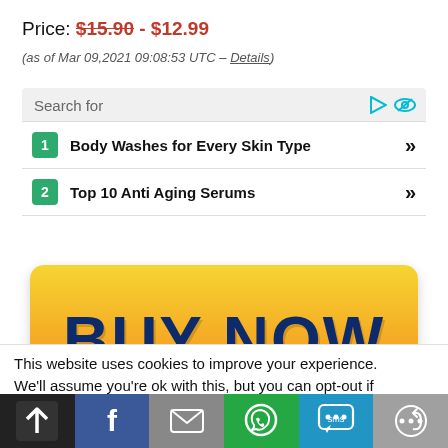Price: $15.90 - $12.99
(as of Mar 09,2021 09:08:53 UTC – Details)
[Figure (screenshot): Search for widget with two items: 1) Body Washes for Every Skin Type, 2) Top 10 Anti Aging Serums]
[Figure (other): Yellow-orange gradient BUY NOW button with dark blue bold text]
This website uses cookies to improve your experience. We'll assume you're ok with this, but you can opt-out if
[Figure (infographic): Social share bar with buttons: back-to-top (black), Facebook (blue), email (gray), WhatsApp (green), SMS (light blue), more (gray)]